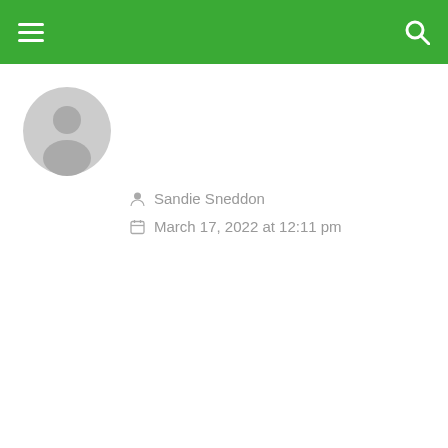[Figure (screenshot): Green navigation bar with hamburger menu icon on the left and search icon on the right]
[Figure (illustration): Gray default user avatar circle with person silhouette]
Sandie Sneddon
March 17, 2022 at 12:11 pm